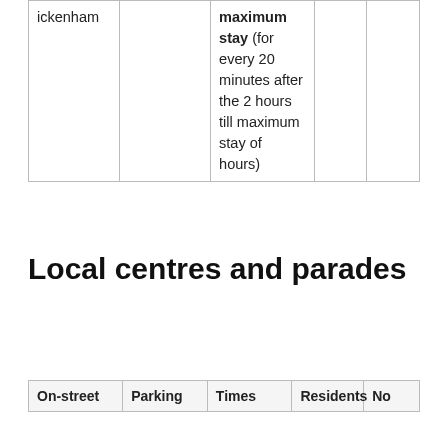|  |  |  |  |  |
| --- | --- | --- | --- | --- |
| ickenham |  | maximum stay (for every 20 minutes after the 2 hours till maximum stay of hours) |  |  |
Local centres and parades
| On-street | Parking | Times | Residents | No |
| --- | --- | --- | --- | --- |